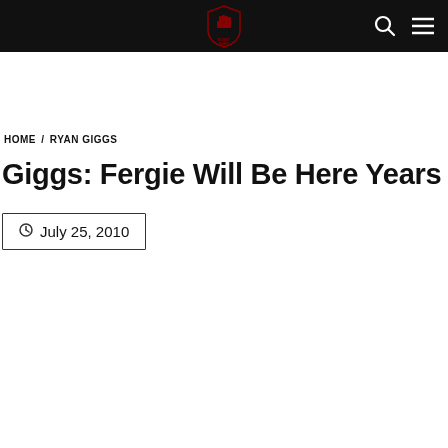BUSBY BABE — navigation bar with logo, search, and menu icons
HOME / RYAN GIGGS
Giggs: Fergie Will Be Here Years Yet
July 25, 2010